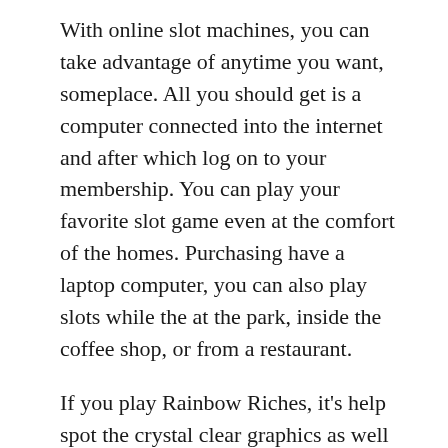With online slot machines, you can take advantage of anytime you want, someplace. All you should get is a computer connected into the internet and after which log on to your membership. You can play your favorite slot game even at the comfort of the homes. Purchasing have a laptop computer, you can also play slots while the at the park, inside the coffee shop, or from a restaurant.
If you play Rainbow Riches, it's help spot the crystal clear graphics as well as the cool sound effects. Jingling coins and leprechauns and rainbows and pots of gold are very well rendered. Slot machines have made great strides since the days of the hand-pulled lever operated mechanical machines. The theme is Irish with Leprechauns and pots of gold as well as doesn't look incongruous on an internet casino slot technology. You can play Rainbow Riches on several spin-offs of the device as well, like the Win Big Shindig for instance. And